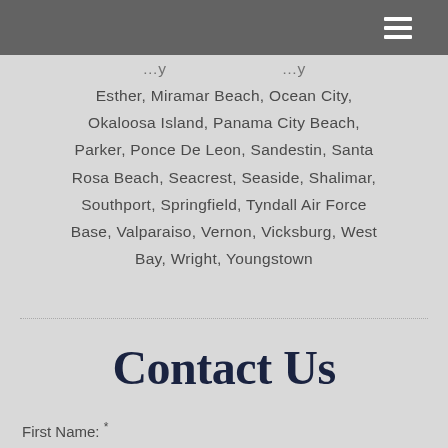Esther, Miramar Beach, Ocean City, Okaloosa Island, Panama City Beach, Parker, Ponce De Leon, Sandestin, Santa Rosa Beach, Seacrest, Seaside, Shalimar, Southport, Springfield, Tyndall Air Force Base, Valparaiso, Vernon, Vicksburg, West Bay, Wright, Youngstown
Contact Us
First Name: *